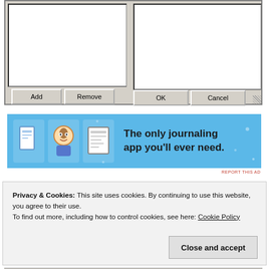[Figure (screenshot): Windows dialog box screenshot showing two list panels side by side, with Add and Remove buttons below the left panel, and OK and Cancel buttons at the bottom right.]
[Figure (screenshot): Advertisement banner with blue background showing icons and text: 'The only journaling app you'll ever need.']
REPORT THIS AD
Privacy & Cookies: This site uses cookies. By continuing to use this website, you agree to their use.
To find out more, including how to control cookies, see here: Cookie Policy
[Figure (screenshot): Partial screenshot of application window at bottom of page.]